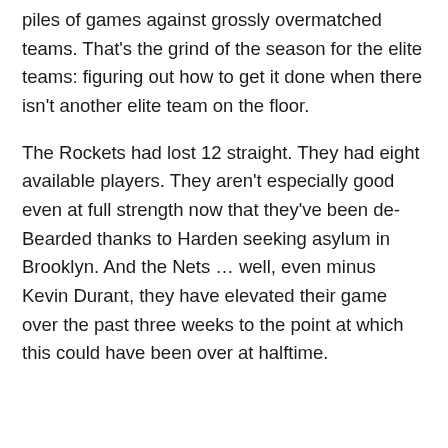piles of games against grossly overmatched teams. That's the grind of the season for the elite teams: figuring out how to get it done when there isn't another elite team on the floor.
The Rockets had lost 12 straight. They had eight available players. They aren't especially good even at full strength now that they've been de-Bearded thanks to Harden seeking asylum in Brooklyn. And the Nets … well, even minus Kevin Durant, they have elevated their game over the past three weeks to the point at which this could have been over at halftime.